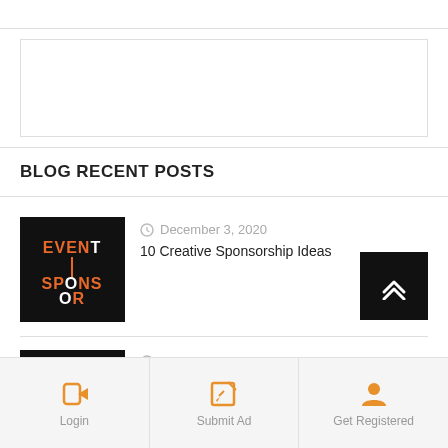[Figure (other): Empty advertisement placeholder box]
BLOG RECENT POSTS
[Figure (photo): Event Sponsor logo thumbnail - black background with orange text]
December 3, 2020
10 Creative Sponsorship Ideas
[Figure (photo): Event logo thumbnail - black background with orange text, partial view]
December 3, 2020
When to get an Event Sponsor
Login
Submit Ad
Get Registered